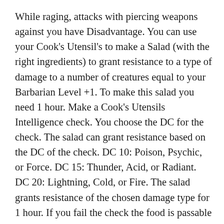While raging, attacks with piercing weapons against you have Disadvantage. You can use your Cook's Utensil's to make a Salad (with the right ingredients) to grant resistance to a type of damage to a number of creatures equal to your Barbarian Level +1. To make this salad you need 1 hour. Make a Cook's Utensils Intelligence check. You choose the DC for the check. The salad can grant resistance based on the DC of the check. DC 10: Poison, Psychic, or Force. DC 15: Thunder, Acid, or Radiant. DC 20: Lightning, Cold, or Fire. The salad grants resistance of the chosen damage type for 1 hour. If you fail the check the food is passable but grants no resistance. You may use this feature the same number of times you may rage. The salad is portable, provided you have containers to keep it in,